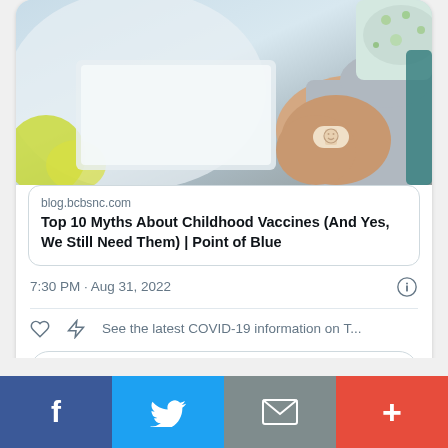[Figure (photo): Child with a smiley face bandage on their upper arm after vaccination, wearing a colorful mask, indoor setting]
blog.bcbsnc.com
Top 10 Myths About Childhood Vaccines (And Yes, We Still Need Them) | Point of Blue
7:30 PM · Aug 31, 2022
See the latest COVID-19 information on T...
Explore what's happening on Twitter
[Figure (screenshot): Bottom share bar with Facebook, Twitter, email, and more buttons]